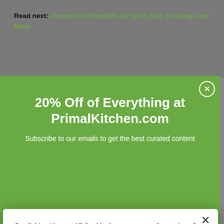Read next: Avocado Oil Benefits for Skin, Hair, Cooking, and More
20% Off of Everything at PrimalKitchen.com
Subscribe to our emails to get the best curated content
By clicking “Accept All Cookies”, you agree to the storing of cookies on your device to enhance site navigation, analyze site usage, and assist in our marketing efforts.
Accept All Cookies
Cookies Settings